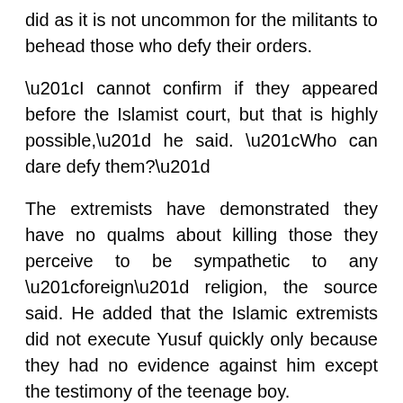did as it is not uncommon for the militants to behead those who defy their orders.
“I cannot confirm if they appeared before the Islamist court, but that is highly possible,” he said. “Who can dare defy them?”
The extremists have demonstrated they have no qualms about killing those they perceive to be sympathetic to any “foreign” religion, the source said. He added that the Islamic extremists did not execute Yusuf quickly only because they had no evidence against him except the testimony of the teenage boy.
“In Islam, to execute someone you need to have evidence of three witnesses, and they didn’t have it,” he said. “Al Shabaab is known to do whatever they like, and they don’t even follow the rules of their religion they claim adherence